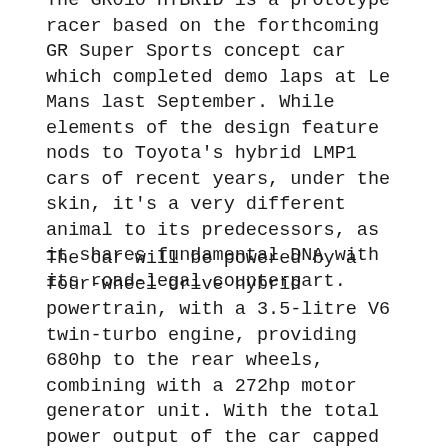The GR010 HYBRID is a prototype racer based on the forthcoming GR Super Sports concept car which completed demo laps at Le Mans last September. While elements of the design feature nods to Toyota's hybrid LMP1 cars of recent years, under the skin, it's a very different animal to its predecessors, as it shares fundamental DNA with its road-legal counterpart.
The car will be powered by a four-wheel drive hybrid powertrain, with a 3.5-litre V6 twin-turbo engine, providing 680hp to the rear wheels, combining with a 272hp motor generator unit. With the total power output of the car capped at 680hp by regulation, the hybrid system, is being used to reduce the amount of power used by the engine through boosts of hybrid power each lap during a race.